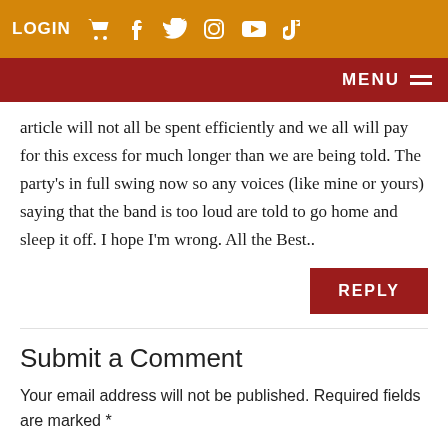LOGIN [cart] [facebook] [twitter] [instagram] [youtube] [tiktok]
MENU
article will not all be spent efficiently and we all will pay for this excess for much longer than we are being told. The party's in full swing now so any voices (like mine or yours) saying that the band is too loud are told to go home and sleep it off. I hope I'm wrong. All the Best..
REPLY
Submit a Comment
Your email address will not be published. Required fields are marked *